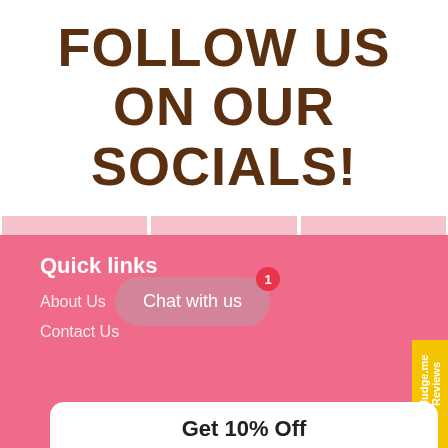FOLLOW US ON OUR SOCIALS!
[Figure (photo): Three pink placeholder image boxes in a row below the title]
Quick links
About Us
Contact Us
[Figure (other): Judge.me Reviews yellow vertical tab on the right side]
Chat with us
Get 10% Off